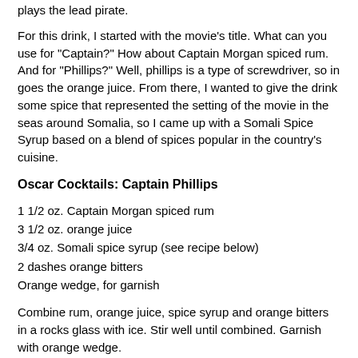plays the lead pirate.
For this drink, I started with the movie's title. What can you use for "Captain?" How about Captain Morgan spiced rum. And for "Phillips?" Well, phillips is a type of screwdriver, so in goes the orange juice. From there, I wanted to give the drink some spice that represented the setting of the movie in the seas around Somalia, so I came up with a Somali Spice Syrup based on a blend of spices popular in the country's cuisine.
Oscar Cocktails: Captain Phillips
1 1/2 oz. Captain Morgan spiced rum
3 1/2 oz. orange juice
3/4 oz. Somali spice syrup (see recipe below)
2 dashes orange bitters
Orange wedge, for garnish
Combine rum, orange juice, spice syrup and orange bitters in a rocks glass with ice. Stir well until combined. Garnish with orange wedge.